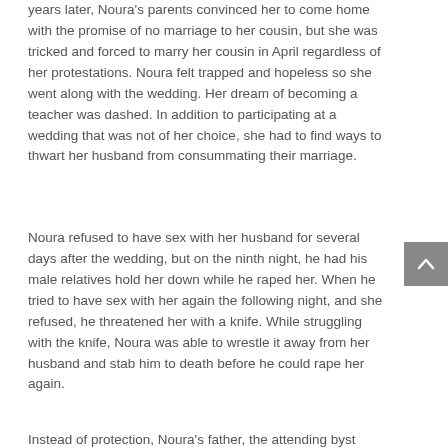years later, Noura's parents convinced her to come home with the promise of no marriage to her cousin, but she was tricked and forced to marry her cousin in April regardless of her protestations. Noura felt trapped and hopeless so she went along with the wedding. Her dream of becoming a teacher was dashed. In addition to participating at a wedding that was not of her choice, she had to find ways to thwart her husband from consummating their marriage.
Noura refused to have sex with her husband for several days after the wedding, but on the ninth night, he had his male relatives hold her down while he raped her. When he tried to have sex with her again the following night, and she refused, he threatened her with a knife. While struggling with the knife, Noura was able to wrestle it away from her husband and stab him to death before he could rape her again.
Instead of protection, Noura's father, the attending byst...